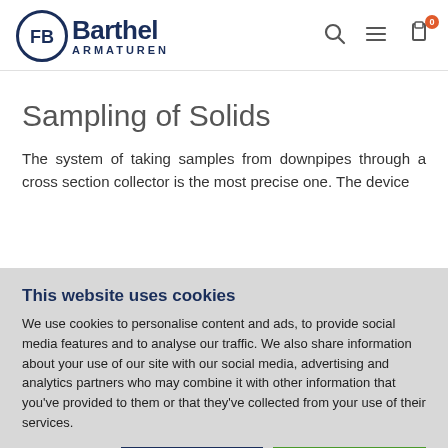[Figure (logo): Barthel Armaturen logo with circular FB emblem and navigation icons (search, menu, cart with 0 badge)]
Sampling of Solids
The system of taking samples from downpipes through a cross section collector is the most precise one. The device
This website uses cookies
We use cookies to personalise content and ads, to provide social media features and to analyse our traffic. We also share information about your use of our site with our social media, advertising and analytics partners who may combine it with other information that you've provided to them or that they've collected from your use of their services.
Allow selection | Allow all cookies
✓ Necessary  ☐ Preferences  ☐ Statistics  ☐ Marketing  Show details ∨